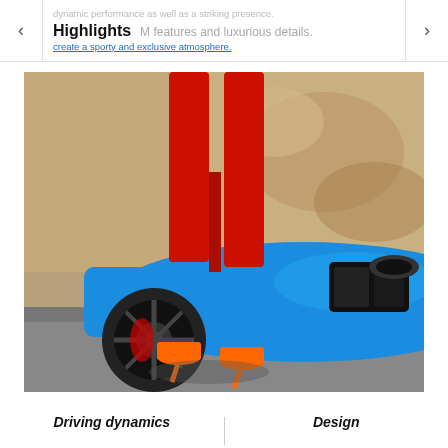Highlights
dynamic performance as well as a striking presence. M features and luxurious details create a sporty and exclusive atmosphere.
[Figure (photo): A person in red trousers and orange high heels standing in front of a blue BMW M sports car parked near a rocky wall.]
Driving dynamics   Design